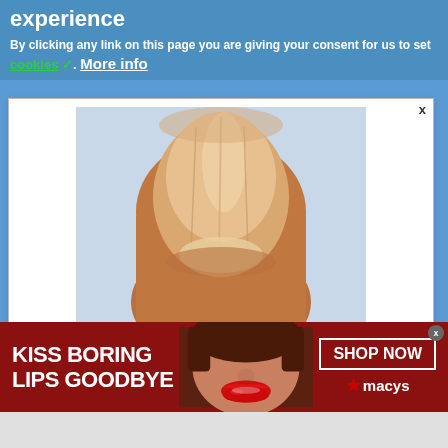experience
By clicking any link on this page you are giving your consent for us to set
cookies ✓. More info
[Figure (photo): Close-up photo of a fingernail/thumbnail showing psoriatic nail changes with ridges and discoloration]
Psoriatic Arthritis Signs (They May Not Be Common
infolinks  Ad by Arthritis | Sponsored Links
[Figure (photo): Advertisement banner showing woman's face with red lipstick for Macy's lipstick promotion]
KISS BORING LIPS GOODBYE
SHOP NOW ★macys